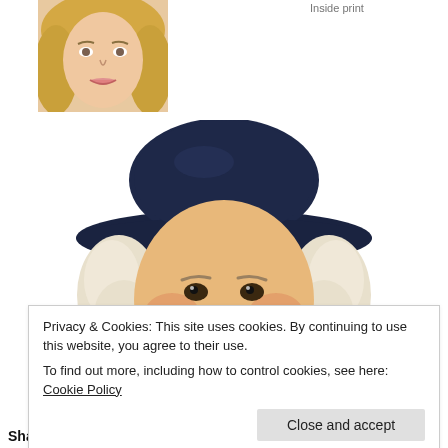[Figure (photo): Partial photo of a blonde woman at top left corner of the page]
Inside print
[Figure (illustration): Illustrated portrait of the Quaker Oats man mascot — a smiling man with white curly hair, wearing a large dark navy wide-brimmed hat and dark colonial-style coat with white ruffled collar]
Privacy & Cookies: This site uses cookies. By continuing to use this website, you agree to their use.
To find out more, including how to control cookies, see here: Cookie Policy
Close and accept
Share this: